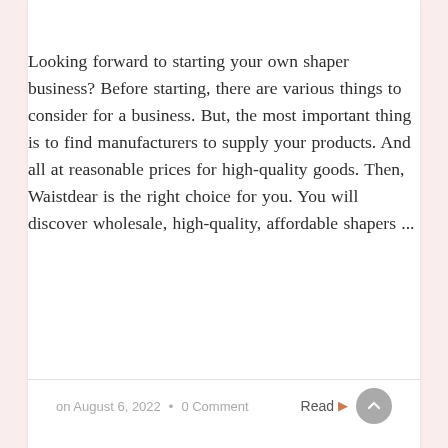Looking forward to starting your own shaper business? Before starting, there are various things to consider for a business. But, the most important thing is to find manufacturers to supply your products. And all at reasonable prices for high-quality goods. Then, Waistdear is the right choice for you. You will discover wholesale, high-quality, affordable shapers ...
on August 6, 2022 • 0 Comment  Read